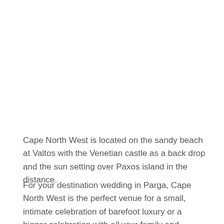Cape North West is located on the sandy beach at Valtos with the Venetian castle as a back drop and the sun setting over Paxos island in the distance.
For your destination wedding in Parga, Cape North West is the perfect venue for a small, intimate celebration of barefoot luxury or a bigger celebration with all your family and friends. The relaxed atmosphere with stylish,